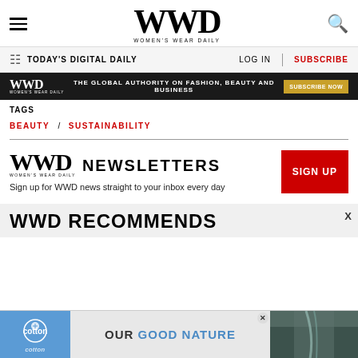WWD WOMEN'S WEAR DAILY
TODAY'S DIGITAL DAILY | LOG IN | SUBSCRIBE
[Figure (infographic): WWD ad banner: black background with WWD logo, text 'THE GLOBAL AUTHORITY ON FASHION, BEAUTY AND BUSINESS' and gold 'SUBSCRIBE NOW' button]
TAGS
BEAUTY / SUSTAINABILITY
[Figure (logo): WWD Women's Wear Daily logo with NEWSLETTERS text]
Sign up for WWD news straight to your inbox every day
WWD RECOMMENDS
[Figure (infographic): Cotton advertisement banner: 'OUR GOOD NATURE' with cotton logo and waterfall imagery, with X close button]